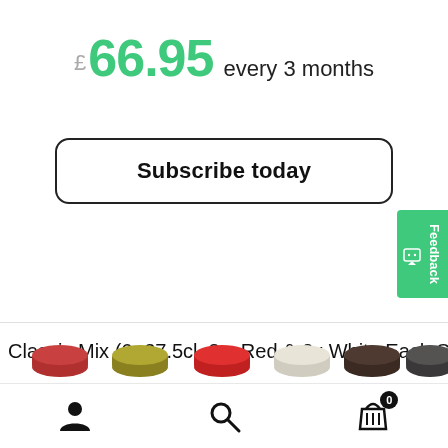£ 66.95 every 3 months
Subscribe today
Classic Mix (6×37.5cl, 3 x Red & 3x White Each Season
[Figure (infographic): Six wine bottle cap icons in a row: red, olive/yellow, red, cream/white, dark brown, dark grey]
[Figure (infographic): Bottom navigation bar with person/account icon, search icon, and shopping basket icon with 0 badge]
[Figure (infographic): Green feedback tab on right side with chat icon]